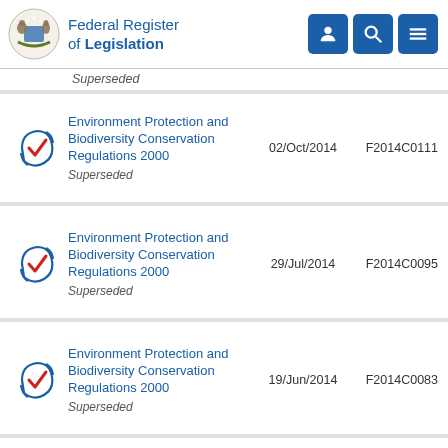Federal Register of Legislation
Environment Protection and Biodiversity Conservation Regulations 2000 — Superseded — 02/Oct/2014 — F2014C0111
Environment Protection and Biodiversity Conservation Regulations 2000 — Superseded — 29/Jul/2014 — F2014C0095
Environment Protection and Biodiversity Conservation Regulations 2000 — Superseded — 19/Jun/2014 — F2014C0083
Environment Protection and Biodiversity Conservation Regulations 2000 — 30/Aug/2013 — F2013C0071